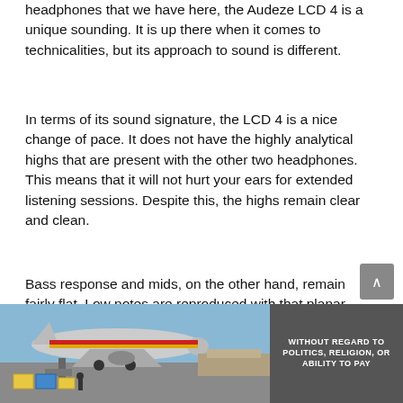headphones that we have here, the Audeze LCD 4 is a unique sounding. It is up there when it comes to technicalities, but its approach to sound is different.
In terms of its sound signature, the LCD 4 is a nice change of pace. It does not have the highly analytical highs that are present with the other two headphones. This means that it will not hurt your ears for extended listening sessions. Despite this, the highs remain clear and clean.
Bass response and mids, on the other hand, remain fairly flat. Low notes are reproduced with that planar magnetic slam that is missing from
[Figure (photo): Advertisement banner showing an airplane being loaded with cargo on a tarmac, with a dark grey overlay on the right side containing white bold text reading 'WITHOUT REGARD TO POLITICS, RELIGION, OR ABILITY TO PAY']